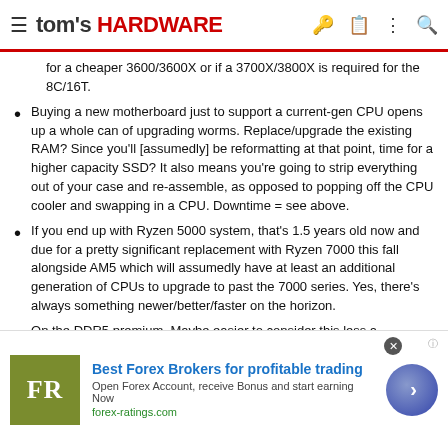tom's HARDWARE
for a cheaper 3600/3600X or if a 3700X/3800X is required for the 8C/16T.
Buying a new motherboard just to support a current-gen CPU opens up a whole can of upgrading worms. Replace/upgrade the existing RAM? Since you'll [assumedly] be reformatting at that point, time for a higher capacity SSD? It also means you're going to strip everything out of your case and re-assemble, as opposed to popping off the CPU cooler and swapping in a CPU. Downtime = see above.
If you end up with Ryzen 5000 system, that's 1.5 years old now and due for a pretty significant replacement with Ryzen 7000 this fall alongside AM5 which will assumedly have at least an additional generation of CPUs to upgrade to past the 7000 series. Yes, there's always something newer/better/faster on the horizon.
On the DDR5 premium. Maybe easier to consider this less a
[Figure (screenshot): Advertisement banner: Best Forex Brokers for profitable trading. FR logo in olive/green square. Open Forex Account, receive Bonus and start earning Now. forex-ratings.com]